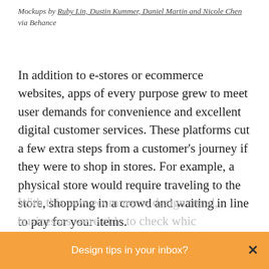Mockups by Ruby Lin, Dustin Kummer, Daniel Martin and Nicole Chen via Behance
In addition to e-stores or ecommerce websites, apps of every purpose grew to meet user demands for convenience and excellent digital customer services. These platforms cut a few extra steps from a customer's journey if they were to shop in stores. For example, a physical store would require traveling to the store, shopping in a crowd and waiting in line to pay for your items.
With this new ecommerce design trend, businesses were able to check whic products are in stock in their...
Design tips in your inbox?